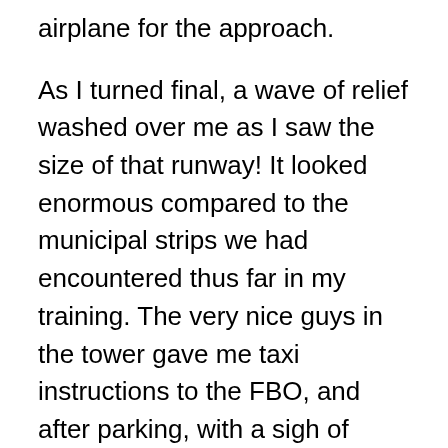airplane for the approach.
As I turned final, a wave of relief washed over me as I saw the size of that runway! It looked enormous compared to the municipal strips we had encountered thus far in my training. The very nice guys in the tower gave me taxi instructions to the FBO, and after parking, with a sigh of relief, I pulled the mixture and watched the prop spin to a halt.
Sitting in the air-conditioned terminal waiting for my wife to pick me up, it occurred to me that I had just violated the restrictions on my solo endorsement. On the same day